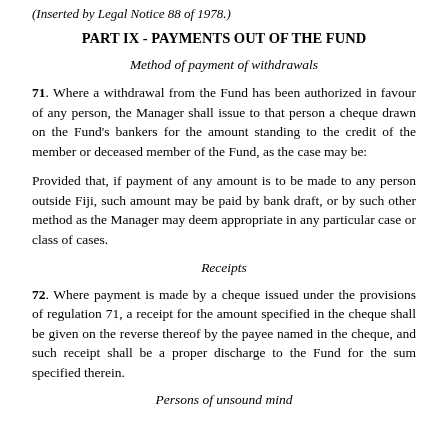(Inserted by Legal Notice 88 of 1978.)
PART IX - PAYMENTS OUT OF THE FUND
Method of payment of withdrawals
71. Where a withdrawal from the Fund has been authorized in favour of any person, the Manager shall issue to that person a cheque drawn on the Fund's bankers for the amount standing to the credit of the member or deceased member of the Fund, as the case may be:
Provided that, if payment of any amount is to be made to any person outside Fiji, such amount may be paid by bank draft, or by such other method as the Manager may deem appropriate in any particular case or class of cases.
Receipts
72. Where payment is made by a cheque issued under the provisions of regulation 71, a receipt for the amount specified in the cheque shall be given on the reverse thereof by the payee named in the cheque, and such receipt shall be a proper discharge to the Fund for the sum specified therein.
Persons of unsound mind